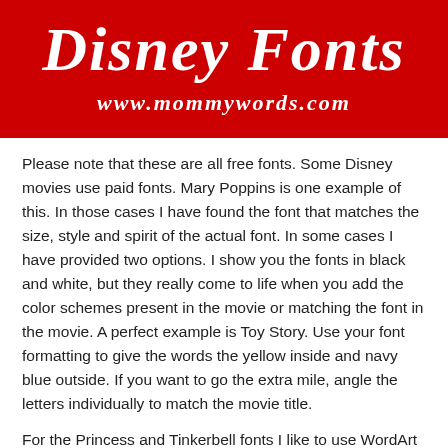[Figure (other): Red banner header with stylized Disney Fonts title text in white italic font and website URL www.mommywords.com in white below]
Please note that these are all free fonts. Some Disney movies use paid fonts. Mary Poppins is one example of this. In those cases I have found the font that matches the size, style and spirit of the actual font. In some cases I have provided two options. I show you the fonts in black and white, but they really come to life when you add the color schemes present in the movie or matching the font in the movie. A perfect example is Toy Story. Use your font formatting to give the words the yellow inside and navy blue outside. If you want to go the extra mile, angle the letters individually to match the movie title.
For the Princess and Tinkerbell fonts I like to use WordArt (Microsoft Word or PowerPoint) or Photoshop to make the font look shimmery